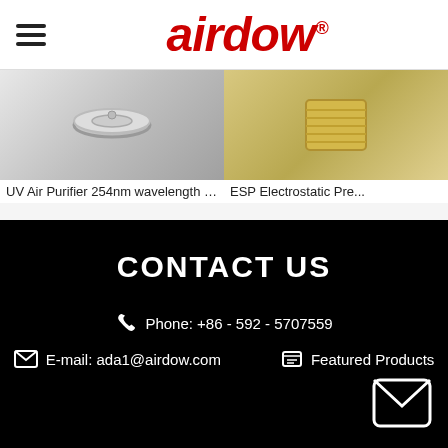airdow®
UV Air Purifier 254nm wavelength Desi...
ESP Electrostatic Pre...
CONTACT US
Phone: +86 - 592 - 5707559
E-mail: ada1@airdow.com
Featured Products